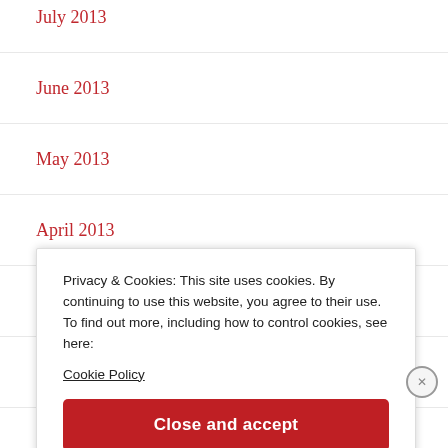July 2013
June 2013
May 2013
April 2013
March 2013
February 2013
January 2013
Privacy & Cookies: This site uses cookies. By continuing to use this website, you agree to their use.
To find out more, including how to control cookies, see here:
Cookie Policy
Close and accept